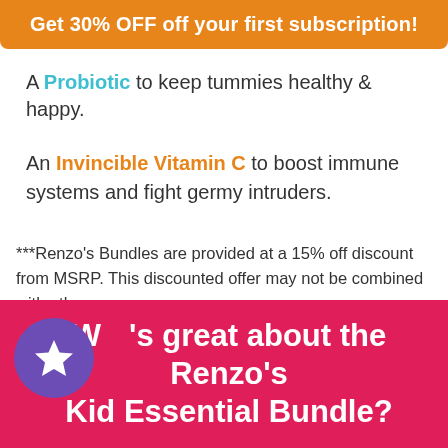Get 30% OFF off your first subscription!
A Probiotic to keep tummies healthy & happy.
An Invincible Vitamin C to boost immune systems and fight germy intruders.
***Renzo's Bundles are provided at a 15% off discount from MSRP. This discounted offer may not be combined with other
What's great about the Renzo's Kid Essential Bundle?